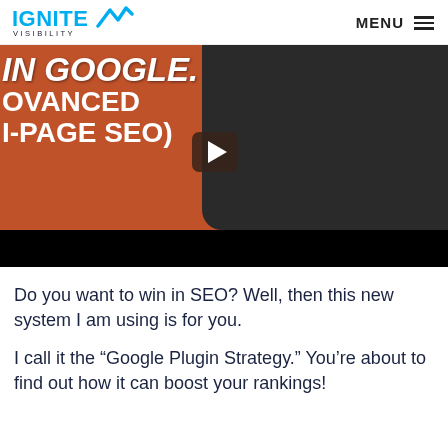IGNITE VISIBILITY | MENU
[Figure (screenshot): Video thumbnail showing a man in a black hoodie against an orange/brown background with white bold text partially visible: 'IN GOOGLE.' / 'ADVANCED' / 'N-PAGE SEO)' and a play button in the center.]
Do you want to win in SEO? Well, then this new system I am using is for you.
I call it the “Google Plugin Strategy.” You’re about to find out how it can boost your rankings!